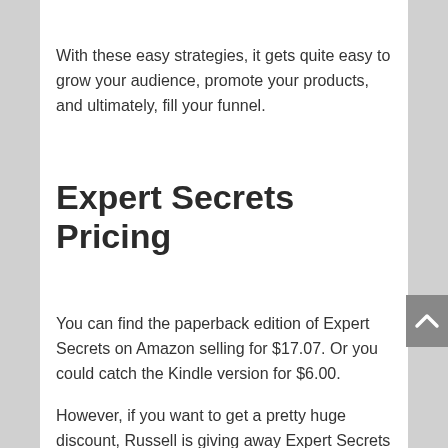With these easy strategies, it gets quite easy to grow your audience, promote your products, and ultimately, fill your funnel.
Expert Secrets Pricing
You can find the paperback edition of Expert Secrets on Amazon selling for $17.07. Or you could catch the Kindle version for $6.00.
However, if you want to get a pretty huge discount, Russell is giving away Expert Secrets for free if you buy through his website. All you need to do is